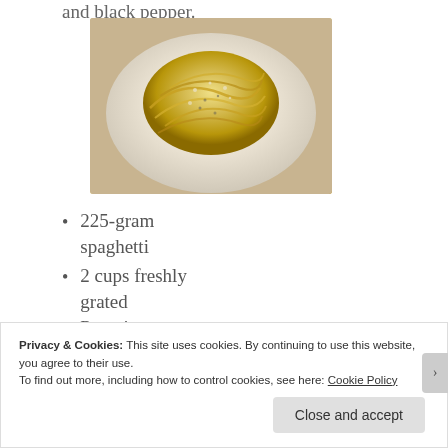and black pepper.
[Figure (photo): A plate of spaghetti cacio e pepe — creamy pasta twirled on a white plate, dusted with grated cheese and black pepper.]
225-gram spaghetti
2 cups freshly grated Pecorino Romano, grated
1 to 1 1/2 tsp. of
Privacy & Cookies: This site uses cookies. By continuing to use this website, you agree to their use.
To find out more, including how to control cookies, see here: Cookie Policy
Close and accept